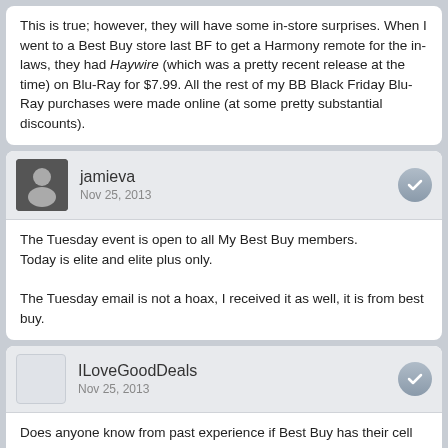This is true; however, they will have some in-store surprises. When I went to a Best Buy store last BF to get a Harmony remote for the in-laws, they had Haywire (which was a pretty recent release at the time) on Blu-Ray for $7.99. All the rest of my BB Black Friday Blu-Ray purchases were made online (at some pretty substantial discounts).
jamieva
Nov 25, 2013
The Tuesday event is open to all My Best Buy members.
Today is elite and elite plus only.

The Tuesday email is not a hoax, I received it as well, it is from best buy.
ILoveGoodDeals
Nov 25, 2013
Does anyone know from past experience if Best Buy has their cell phone deals on the website? I'm looking at the iPhone 5C for $48.
http://blackfriday.g...arContract.html
Kim3498